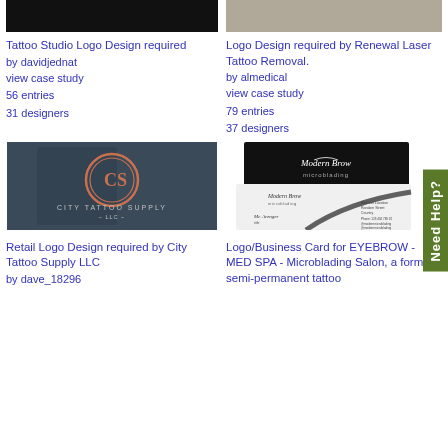[Figure (photo): Dark/black image banner at top left]
[Figure (photo): Gray textured image banner at top right]
Tattoo Studio Logo Design required
by davidjednat
view case study
56 entries
31 designers
Logo Design required by Renewal Laser Tattoo Removal.
by almedical
view case study
79 entries
37 designers
[Figure (logo): City Tattoo Supply LLC logo - circular CS monogram in copper/rose gold on dark blue-gray background]
[Figure (photo): Modern Brow microblading business cards - black card on top, white card below with swoosh design]
Retail Logo Design required by City Tattoo Supply LLC
by dave_18296
Logo/Business Card for EYEBROW - MED SPA - Microblading Salon, a form of semi-permanent tattoo